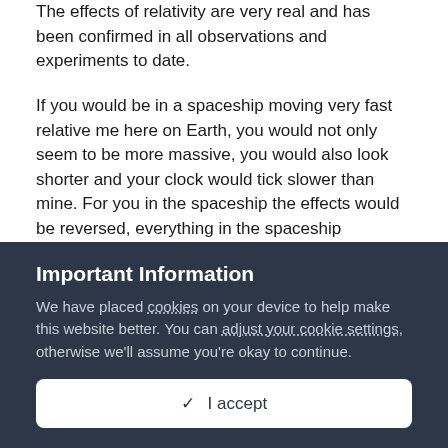The effects of relativity are very real and has been confirmed in all observations and experiments to date.
If you would be in a spaceship moving very fast relative me here on Earth, you would not only seem to be more massive, you would also look shorter and your clock would tick slower than mine. For you in the spaceship the effects would be reversed, everything in the spaceship including yourself would seem normal but when you look down on me, I would appear from your point of view to be more massive, shorter and that it is my clock that ticks slower. Two events, (A & B), at different locations might be seen as happening in different order from our vantage points, I can see that A happens before B, while you will see that B did happen
Important Information
We have placed cookies on your device to help make this website better. You can adjust your cookie settings, otherwise we'll assume you're okay to continue.
✓  I accept